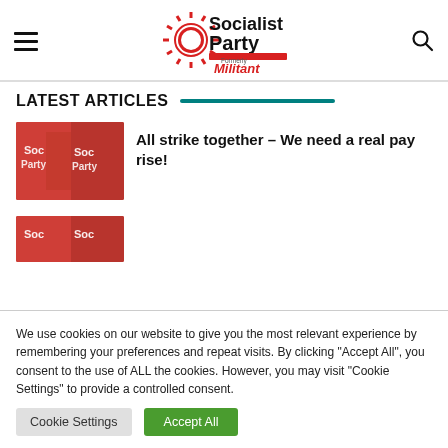Socialist Party – Formerly Militant
LATEST ARTICLES
[Figure (photo): Red Socialist Party flags/banners photo thumbnail]
All strike together – We need a real pay rise!
[Figure (photo): Second red Socialist Party flags/banners photo thumbnail (partially visible)]
We use cookies on our website to give you the most relevant experience by remembering your preferences and repeat visits. By clicking "Accept All", you consent to the use of ALL the cookies. However, you may visit "Cookie Settings" to provide a controlled consent.
Cookie Settings | Accept All